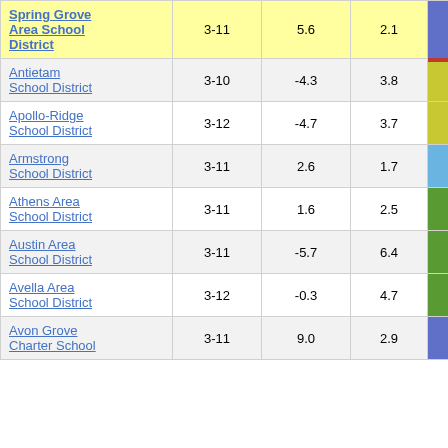| District | Grades | Col1 | Col2 | Score |
| --- | --- | --- | --- | --- |
| Spring Grove Area School District | 3-11 | 5.6 | 2.1 | 2.68 |
| Antietam School District | 3-10 | -4.3 | 3.8 | -1.13 |
| Apollo-Ridge School District | 3-12 | -4.7 | 3.7 | -1.24 |
| Armstrong School District | 3-11 | 2.6 | 1.7 | 1.53 |
| Athens Area School District | 3-11 | 1.6 | 2.5 | 0.64 |
| Austin Area School District | 3-11 | -5.7 | 6.4 | -0.90 |
| Avella Area School District | 3-12 | -0.3 | 4.7 | -0.05 |
| Avon Grove Charter School | 3-11 | 9.0 | 2.9 | 3.13 |